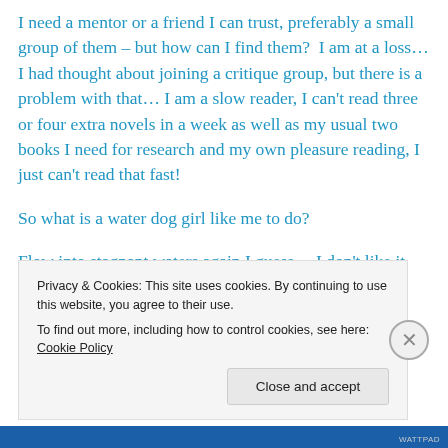I need a mentor or a friend I can trust, preferably a small group of them – but how can I find them?  I am at a loss… I had thought about joining a critique group, but there is a problem with that… I am a slow reader, I can't read three or four extra novels in a week as well as my usual two books I need for research and my own pleasure reading, I just can't read that fast!
So what is a water dog girl like me to do?
Flow into stagnant waters again I guess… I don't like it there, it's too murky and stinks and it's a bit boring to be
Privacy & Cookies: This site uses cookies. By continuing to use this website, you agree to their use.
To find out more, including how to control cookies, see here: Cookie Policy